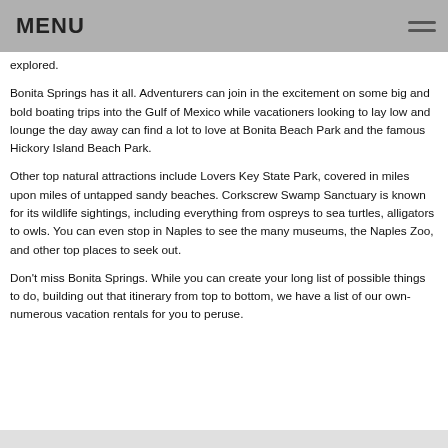MENU
explored.
Bonita Springs has it all. Adventurers can join in the excitement on some big and bold boating trips into the Gulf of Mexico while vacationers looking to lay low and lounge the day away can find a lot to love at Bonita Beach Park and the famous Hickory Island Beach Park.
Other top natural attractions include Lovers Key State Park, covered in miles upon miles of untapped sandy beaches. Corkscrew Swamp Sanctuary is known for its wildlife sightings, including everything from ospreys to sea turtles, alligators to owls. You can even stop in Naples to see the many museums, the Naples Zoo, and other top places to seek out.
Don't miss Bonita Springs. While you can create your long list of possible things to do, building out that itinerary from top to bottom, we have a list of our own- numerous vacation rentals for you to peruse.